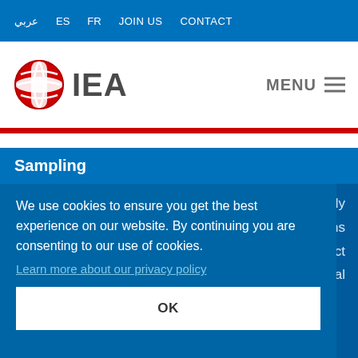عربي  ES  FR  JOIN US  CONTACT
[Figure (logo): IEA globe logo with red and white design, followed by bold IEA text]
MENU ☰
Sampling
study
isions
select
onal
We use cookies to ensure you get the best experience on our website. By continuing you are consenting to our use of cookies.
Learn more about our privacy policy
OK
During the last decade, we have been involved in selecting more